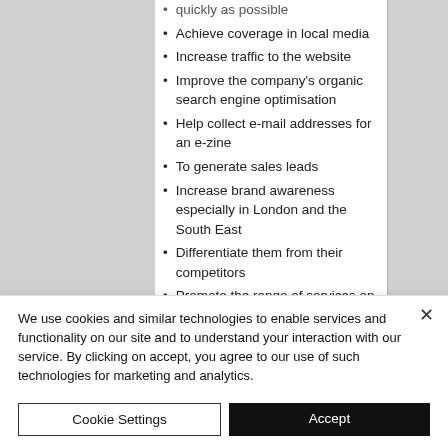quickly as possible
Achieve coverage in local media
Increase traffic to the website
Improve the company's organic search engine optimisation
Help collect e-mail addresses for an e-zine
To generate sales leads
Increase brand awareness especially in London and the South East
Differentiate them from their competitors
Promote the range of services on offer
To support them in maximising any
We use cookies and similar technologies to enable services and functionality on our site and to understand your interaction with our service. By clicking on accept, you agree to our use of such technologies for marketing and analytics.
Cookie Settings
Accept